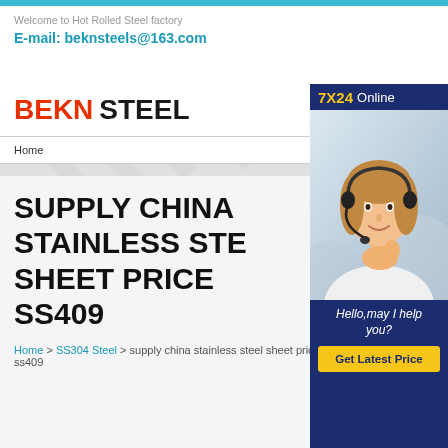Welcome to Hot Rolled Steel factory
E-mail: beknsteels@163.com
[Figure (logo): BEKN STEEL company logo with BEKN in red and STEEL in black bold text]
Home
[Figure (photo): Customer service representative wearing a headset, smiling, with 7X24 Online banner and Hello,may I help you? text and Get Latest Price button]
SUPPLY CHINA STAINLESS STEEL SHEET PRICE SS409
Home > SS304 Steel > supply china stainless steel sheet price ss409